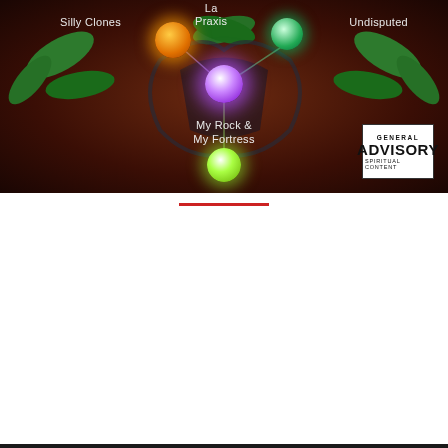[Figure (illustration): Album art for a music release showing orbs/spheres in orange, green, purple, and yellow-green on a dark brown background with leaf decorations. Song titles labeled: Silly Clones, La Praxis, Undisputed, My Rock & My Fortress. General Advisory – Spiritual Content badge in bottom right.]
[Figure (screenshot): YouTube video embed thumbnail for 'Undisputed - SoulYah & Koresh [Keth…' with channel avatar, play button, and video content showing artist names SoulYah & Koresh, mixtape K [תו], and scripture-style lyrics about defying armies of the living Elohim.]